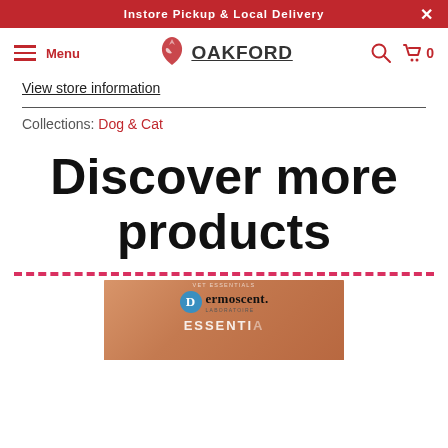Instore Pickup & Local Delivery
[Figure (logo): Oakford store logo with bird icon and OAKFORD text]
View store information
Collections: Dog & Cat
Discover more products
[Figure (photo): Dermoscent product box, copper/brown colored packaging with Dermoscent Laboratoire branding and ESSENTIA text visible]